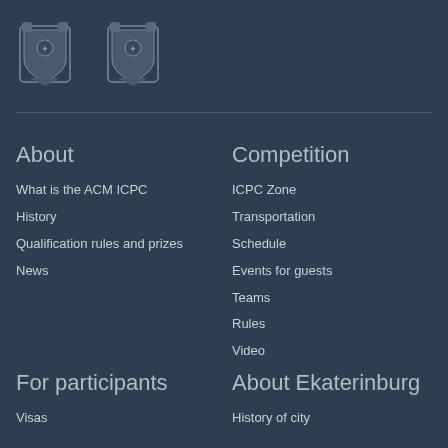[Figure (logo): Two heraldic coat of arms logos side by side on dark blue background]
About
What is the ACM ICPC
History
Qualification rules and prizes
News
Competition
ICPC Zone
Transportation
Schedule
Events for guests
Teams
Rules
Video
For participants
About Ekaterinburg
Visas
History of city